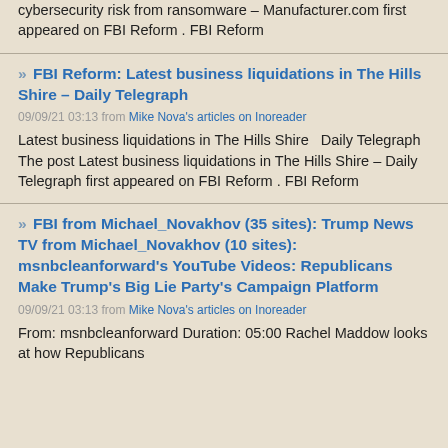cybersecurity risk from ransomware – Manufacturer.com first appeared on FBI Reform . FBI Reform
FBI Reform: Latest business liquidations in The Hills Shire – Daily Telegraph
09/09/21 03:13 from Mike Nova's articles on Inoreader
Latest business liquidations in The Hills Shire  Daily Telegraph The post Latest business liquidations in The Hills Shire – Daily Telegraph first appeared on FBI Reform . FBI Reform
FBI from Michael_Novakhov (35 sites): Trump News TV from Michael_Novakhov (10 sites): msnbcleanforward's YouTube Videos: Republicans Make Trump's Big Lie Party's Campaign Platform
09/09/21 03:13 from Mike Nova's articles on Inoreader
From: msnbcleanforward Duration: 05:00 Rachel Maddow looks at how Republicans